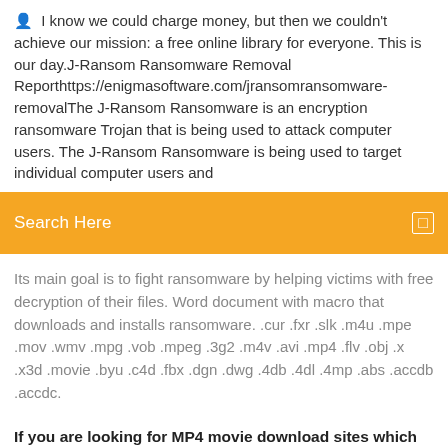I know we could charge money, but then we couldn't achieve our mission: a free online library for everyone. This is our day.J-Ransom Ransomware Removal Reporthttps://enigmasoftware.com/jransomransomware-removalThe J-Ransom Ransomware is an encryption ransomware Trojan that is being used to attack computer users. The J-Ransom Ransomware is being used to target individual computer users and
Search Here
Its main goal is to fight ransomware by helping victims with free decryption of their files. Word document with macro that downloads and installs ransomware. .cur .fxr .slk .m4u .mpe .mov .wmv .mpg .vob .mpeg .3g2 .m4v .avi .mp4 .flv .obj .x .x3d .movie .byu .c4d .fbx .dgn .dwg .4db .4dl .4mp .abs .accdb .accdc.
If you are looking for MP4 movie download sites which enable you to download free MP4 movies, then you have just landed at the right place. Nowadays, most of the